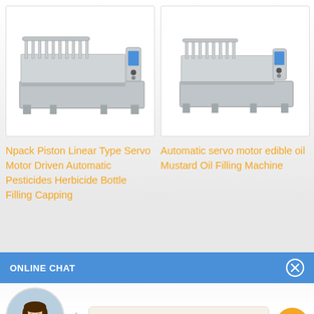[Figure (photo): Industrial filling machine - Npack Piston Linear Type Servo Motor Driven Automatic Pesticides Herbicide Bottle Filling Capping machine, stainless steel with multiple nozzles]
[Figure (photo): Industrial filling machine - Automatic servo motor edible oil Mustard Oil Filling Machine, stainless steel with multiple nozzles]
Npack Piston Linear Type Servo Motor Driven Automatic Pesticides Herbicide Bottle Filling Capping
Automatic servo motor edible oil Mustard Oil Filling Machine
ONLINE CHAT
[Figure (photo): Customer service agent named Cilina - woman in white shirt]
Hi,welcome to visit our website.
Cilina